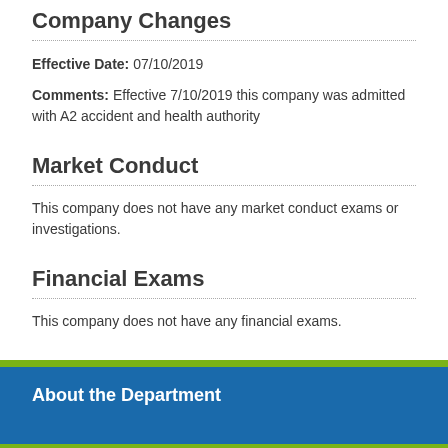Company Changes
Effective Date: 07/10/2019
Comments: Effective 7/10/2019 this company was admitted with A2 accident and health authority
Market Conduct
This company does not have any market conduct exams or investigations.
Financial Exams
This company does not have any financial exams.
About the Department